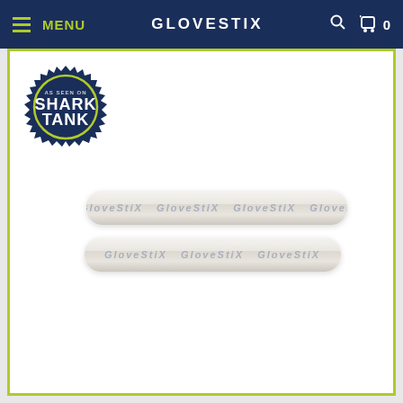MENU  GLOVESTIX  0
[Figure (photo): Product page screenshot showing two GloveStiX odor eliminator sticks with branded packaging, and a Shark Tank badge in the upper left corner. The page header shows the GLOVESTIX brand name on a dark navy background with a lime green menu icon and cart icon.]